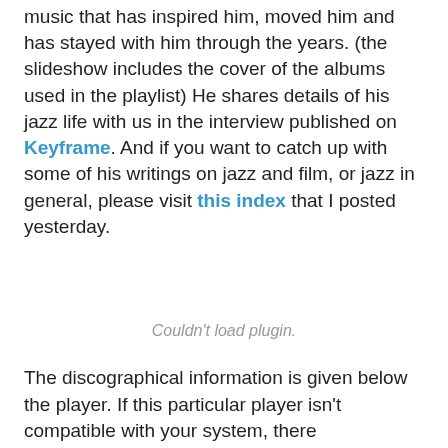music that has inspired him, moved him and has stayed with him through the years. (the slideshow includes the cover of the albums used in the playlist) He shares details of his jazz life with us in the interview published on Keyframe. And if you want to catch up with some of his writings on jazz and film, or jazz in general, please visit this index that I posted yesterday.
[Figure (other): Embedded plugin/media player area showing 'Couldn't load plugin.' message]
The discographical information is given below the player. If this particular player isn't compatible with your system, there